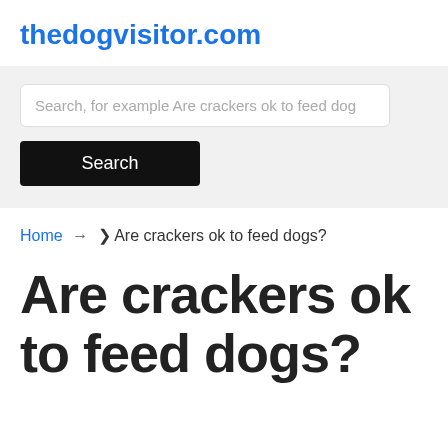thedogvisitor.com
[Figure (screenshot): Search input field with placeholder text 'Search, for example Are crackers ok to feed dog' and a black Search button]
Home → ❯ Are crackers ok to feed dogs?
Are crackers ok to feed dogs?